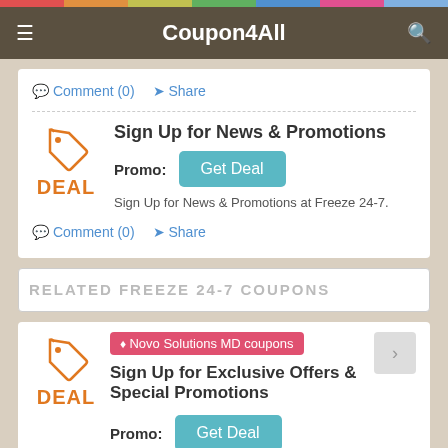Coupon4All
Comment (0)  Share
Sign Up for News & Promotions
Promo: Get Deal
Sign Up for News & Promotions at Freeze 24-7.
Comment (0)  Share
RELATED FREEZE 24-7 COUPONS
Novo Solutions MD coupons
Sign Up for Exclusive Offers & Special Promotions
Promo: Get Deal
Sign Up to Receive Exclusive Offers and Special Promotions at A…  More